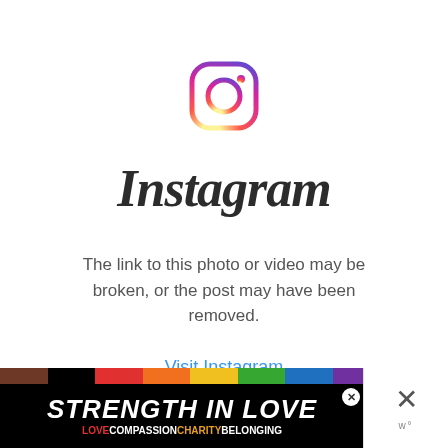[Figure (logo): Instagram camera logo icon with gradient border (orange to pink to purple)]
Instagram
The link to this photo or video may be broken, or the post may have been removed.
Visit Instagram
[Figure (infographic): Bottom ad banner: rainbow stripe above black background with 'STRENGTH IN LOVE' in white bold italic text, and subtitle row: LOVE COMPASSION CHARITY BELONGING. An X close button appears top right of ad. On far right: X close symbol and W logo.]